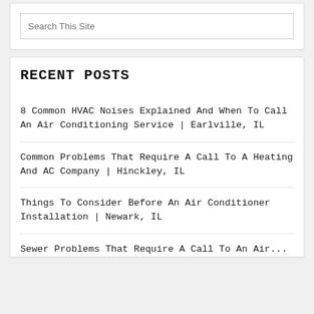[Figure (screenshot): Search widget with text input field labeled 'Search This Site']
RECENT POSTS
8 Common HVAC Noises Explained And When To Call An Air Conditioning Service | Earlville, IL
Common Problems That Require A Call To A Heating And AC Company | Hinckley, IL
Things To Consider Before An Air Conditioner Installation | Newark, IL
Sewer Problems That Require A Call To An Air...